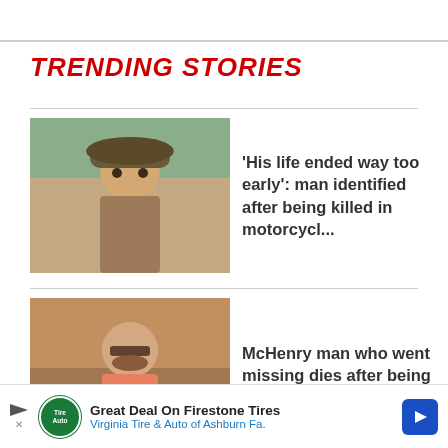TRENDING STORIES
[Figure (photo): Photo of a man wearing sunglasses and a hat outdoors]
'His life ended way too early': man identified after being killed in motorcycl...
[Figure (photo): Photo of a bearded man in a pink shirt sitting at a table with food]
McHenry man who went missing dies after being found in Chicago
[Figure (photo): Photo of a Walmart store exterior]
Woman charged with leaving her infant and toddler unattended inside car in Algonquin
[Figure (infographic): Advertisement: Great Deal On Firestone Tires - Virginia Tire & Auto of Ashburn Fa.]